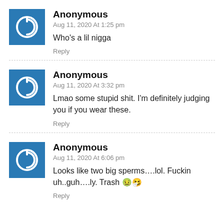Anonymous
Aug 11, 2020 At 1:25 pm
Who's a lil nigga
Reply
Anonymous
Aug 11, 2020 At 3:32 pm
Lmao some stupid shit. I'm definitely judging you if you wear these.
Reply
Anonymous
Aug 11, 2020 At 6:06 pm
Looks like two big sperms….lol. Fuckin uh..guh….ly. Trash 🤢🤧
Reply